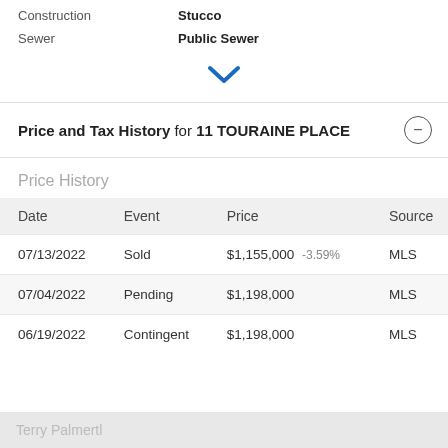Construction: Stucco
Sewer: Public Sewer
[Figure (other): Blue downward chevron/arrow icon indicating expand/collapse]
Price and Tax History for 11 TOURAINE PLACE
Price History
| Date | Event | Price | Source |
| --- | --- | --- | --- |
| 07/13/2022 | Sold | $1,155,000 -3.59% | MLS |
| 07/04/2022 | Pending | $1,198,000 | MLS |
| 06/19/2022 | Contingent | $1,198,000 | MLS |
Terry Palmertl